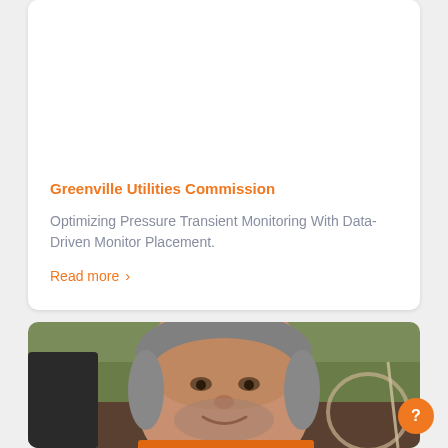Greenville Utilities Commission
Optimizing Pressure Transient Monitoring With Data-Driven Monitor Placement.
Read more ›
[Figure (photo): A man with grey stubble and short grey hair smiling, wearing an orange jacket, outdoors near some soil and equipment with tubing visible. Outdoor background with grass.]